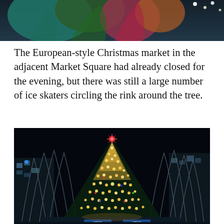[Figure (photo): Top portion of a colorful mural or artwork with bold graphic figures in teal, green, red/pink tones against a dark background with bright lights visible]
The European-style Christmas market in the adjacent Market Square had already closed for the evening, but there was still a large number of ice skaters circling the rink around the tree.
[Figure (photo): Night-time photograph of a large illuminated Christmas tree in an urban square (Pittsburgh's Market Square), surrounded by architectural steel arch structures and city buildings. UPMC signage visible at the bottom.]